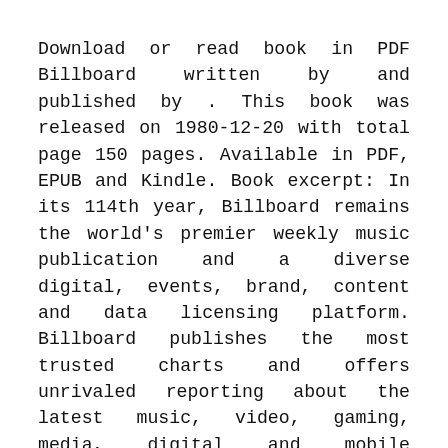Download or read book in PDF Billboard written by and published by . This book was released on 1980-12-20 with total page 150 pages. Available in PDF, EPUB and Kindle. Book excerpt: In its 114th year, Billboard remains the world's premier weekly music publication and a diverse digital, events, brand, content and data licensing platform. Billboard publishes the most trusted charts and offers unrivaled reporting about the latest music, video, gaming, media, digital and mobile entertainment issues and trends.